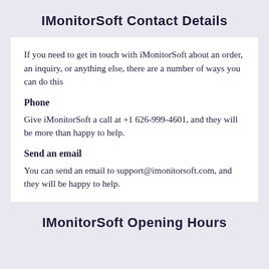IMonitorSoft Contact Details
If you need to get in touch with iMonitorSoft about an order, an inquiry, or anything else, there are a number of ways you can do this
Phone
Give iMonitorSoft a call at +1 626-999-4601, and they will be more than happy to help.
Send an email
You can send an email to support@imonitorsoft.com, and they will be happy to help.
IMonitorSoft Opening Hours